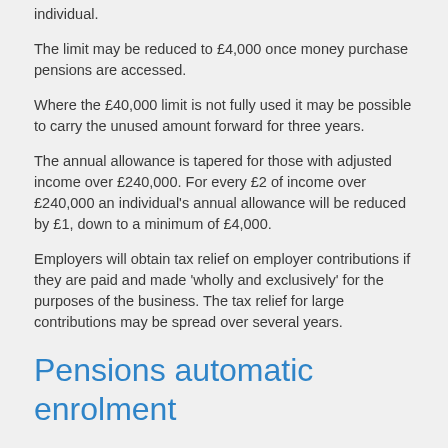individual.
The limit may be reduced to £4,000 once money purchase pensions are accessed.
Where the £40,000 limit is not fully used it may be possible to carry the unused amount forward for three years.
The annual allowance is tapered for those with adjusted income over £240,000. For every £2 of income over £240,000 an individual's annual allowance will be reduced by £1, down to a minimum of £4,000.
Employers will obtain tax relief on employer contributions if they are paid and made 'wholly and exclusively' for the purposes of the business. The tax relief for large contributions may be spread over several years.
Pensions automatic enrolment